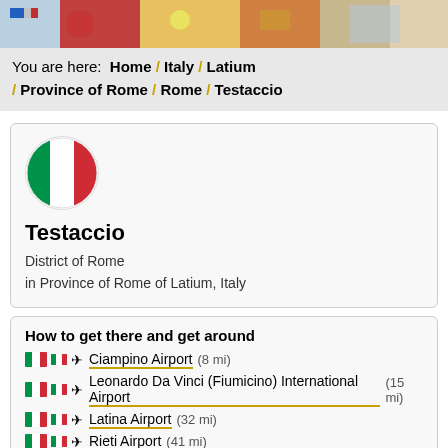[Figure (photo): Decorative image strip at top of page with colorful map/flag imagery]
You are here: Home / Italy / Latium / Province of Rome / Rome / Testaccio
[Figure (illustration): Italian flag circular icon]
Testaccio
District of Rome
in Province of Rome of Latium, Italy
How to get there and get around
Ciampino Airport (8 mi)
Leonardo Da Vinci (Fiumicino) International Airport (15 mi)
Latina Airport (32 mi)
Rieti Airport (41 mi)
Frosinone Military Airport (44 mi)